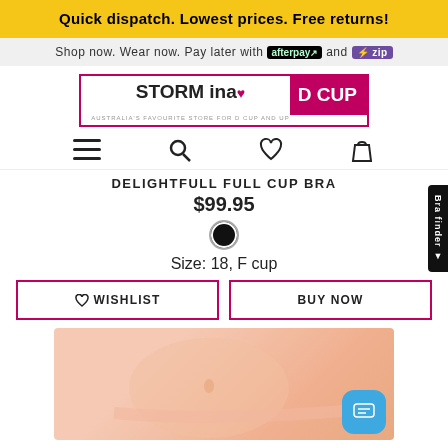Quick dispatch. Lowest prices. Free returns!
Shop now. Wear now. Pay later with afterpay and zip
[Figure (logo): Storm in a D Cup logo - pink and white branding for Australian lingerie retailer]
[Figure (other): Navigation icons: hamburger menu, search, wishlist/heart, shopping bag]
DELIGHTFULL FULL CUP BRA
$99.95
[Figure (other): Black color swatch circle]
Size: 18, F cup
[Figure (other): Wishlist and Buy Now buttons]
[Figure (photo): Close-up photo of a woman's midsection wearing a pink/nude bra, showing the underband and torso area]